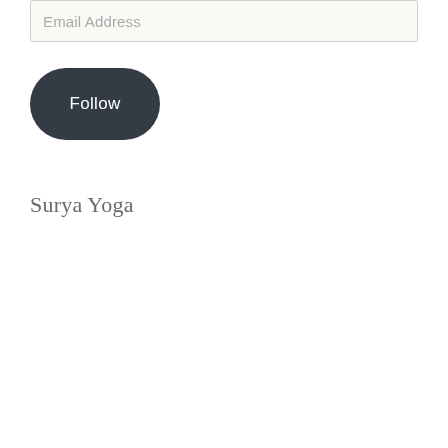Email Address
Follow
Surya Yoga